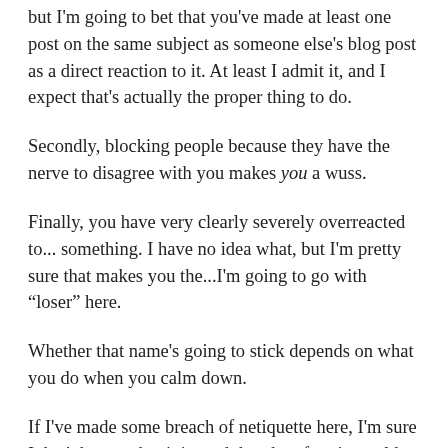but I'm going to bet that you've made at least one post on the same subject as someone else's blog post as a direct reaction to it. At least I admit it, and I expect that's actually the proper thing to do.
Secondly, blocking people because they have the nerve to disagree with you makes you a wuss.
Finally, you have very clearly severely overreacted to... something. I have no idea what, but I'm pretty sure that makes you the...I'm going to go with “loser” here.
Whether that name's going to stick depends on what you do when you calm down.
If I've made some breach of netiquette here, I'm sure I don't know what it is, and that therefore it would be far more productive to let me know what I shouldn't do than to flame